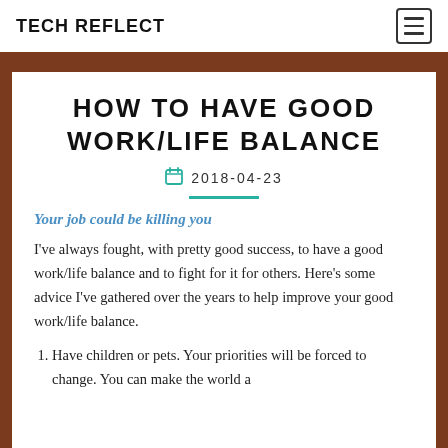TECH REFLECT
HOW TO HAVE GOOD WORK/LIFE BALANCE
2018-04-23
Your job could be killing you
I've always fought, with pretty good success, to have a good work/life balance and to fight for it for others. Here's some advice I've gathered over the years to help improve your good work/life balance.
Have children or pets. Your priorities will be forced to change. You can make the world a